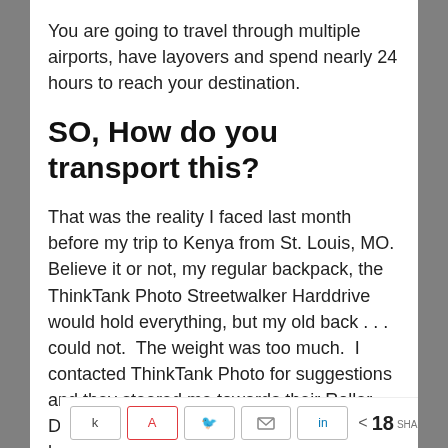You are going to travel through multiple airports, have layovers and spend nearly 24 hours to reach your destination.
SO, How do you transport this?
That was the reality I faced last month before my trip to Kenya from St. Louis, MO.  Believe it or not, my regular backpack, the ThinkTank Photo Streetwalker Harddrive would hold everything, but my old back . . . could not.  The weight was too much.  I contacted ThinkTank Photo for suggestions and they steered me towards their Roller Derby bag.  I checked it out and then didn't hesitate and